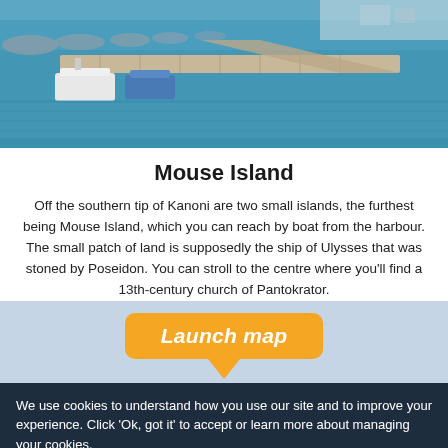[Figure (photo): Aerial or elevated view of a harbour dock/pier extending into blue-green sea water, with boats moored alongside.]
Mouse Island
Off the southern tip of Kanoni are two small islands, the furthest being Mouse Island, which you can reach by boat from the harbour. The small patch of land is supposedly the ship of Ulysses that was stoned by Poseidon. You can stroll to the centre where you'll find a 13th-century church of Pantokrator.
[Figure (other): Orange rounded rectangle button with italic bold white text 'Launch map' and a downward pointing arrow/callout shape below it, on a light blue background.]
We use cookies to understand how you use our site and to improve your experience. Click 'Ok, got it' to accept or learn more about managing your cookies.
Learn more
Ok, got it